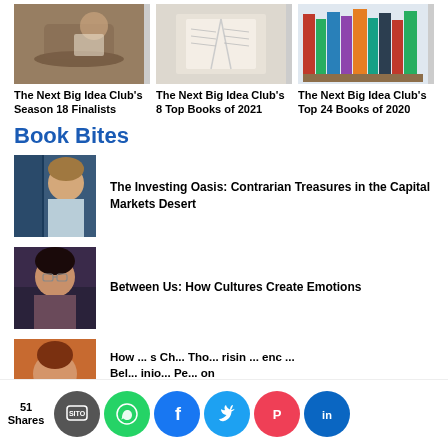[Figure (photo): Three book-related images in a row]
The Next Big Idea Club's Season 18 Finalists
The Next Big Idea Club's 8 Top Books of 2021
The Next Big Idea Club's Top 24 Books of 2020
Book Bites
[Figure (photo): Author headshot for The Investing Oasis]
The Investing Oasis: Contrarian Treasures in the Capital Markets Desert
[Figure (photo): Author headshot for Between Us]
Between Us: How Cultures Create Emotions
[Figure (photo): Partial author photo at bottom]
How ... s Ch... Tho... risin ... enc ... Bel ... inio ... Pe ... on
51 Shares